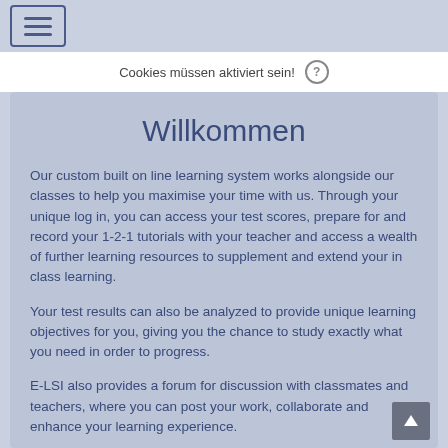☰
Cookies müssen aktiviert sein!
Willkommen
Our custom built on line learning system works alongside our classes to help you maximise your time with us. Through your unique log in, you can access your test scores, prepare for and record your 1-2-1 tutorials with your teacher and access a wealth of further learning resources to supplement and extend your in class learning.
Your test results can also be analyzed to provide unique learning objectives for you, giving you the chance to study exactly what you need in order to progress.
E-LSI also provides a forum for discussion with classmates and teachers, where you can post your work, collaborate and enhance your learning experience.